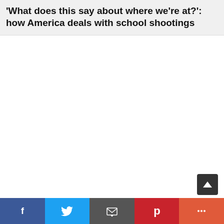'What does this say about where we're at?': how America deals with school shootings
[Figure (other): Large blank white content area below the title, representing the main article body area with no visible content loaded]
Social share bar with Facebook, Twitter, Email, Pinterest, and More buttons